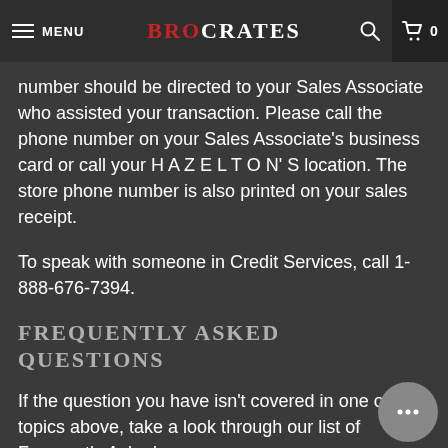MENU | BROCRATES | Search | Cart 0
number should be directed to your Sales Associate who assisted your transaction. Please call the phone number on your Sales Associate's business card or call your H A Z E L T O N' S location. The store phone number is also printed on your sales receipt.
To speak with someone in Credit Services, call 1-888-676-7394.
FREQUENTLY ASKED QUESTIONS
If the question you have isn't covered in one of the topics above, take a look through our list of Frequently Asked